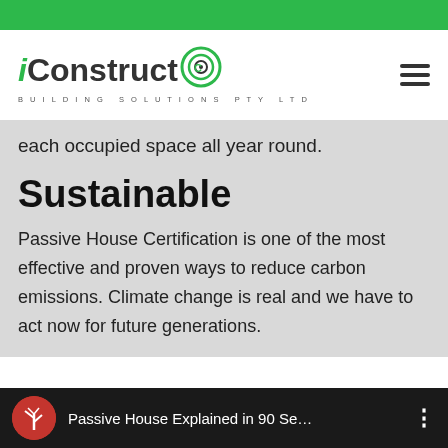[Figure (logo): iConstruct Building Solutions PTY LTD logo with green circular icon]
each occupied space all year round.
Sustainable
Passive House Certification is one of the most effective and proven ways to reduce carbon emissions. Climate change is real and we have to act now for future generations.
[Figure (screenshot): Video thumbnail bar: Passive House Explained in 90 Se... with tree icon on black background]